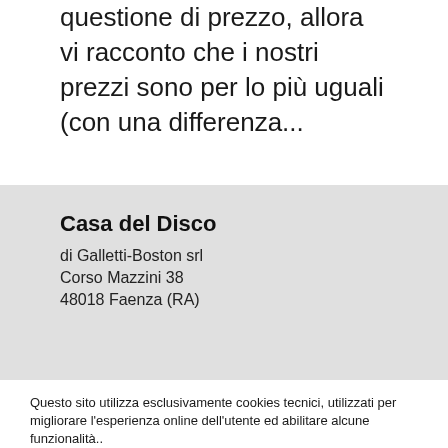questione di prezzo, allora vi racconto che i nostri prezzi sono per lo più uguali (con una differenza...
Casa del Disco
di Galletti-Boston srl
Corso Mazzini 38
48018 Faenza (RA)
Questo sito utilizza esclusivamente cookies tecnici, utilizzati per migliorare l'esperienza online dell'utente ed abilitare alcune funzionalità..
Informati
OK